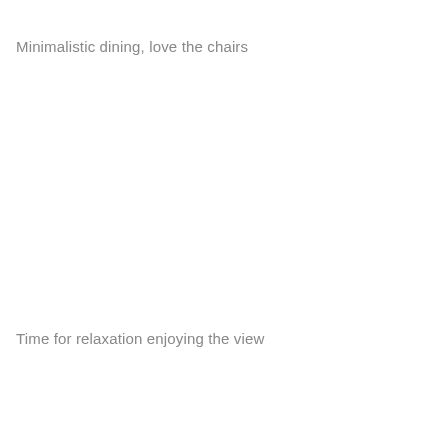Minimalistic dining, love the chairs
Time for relaxation enjoying the view